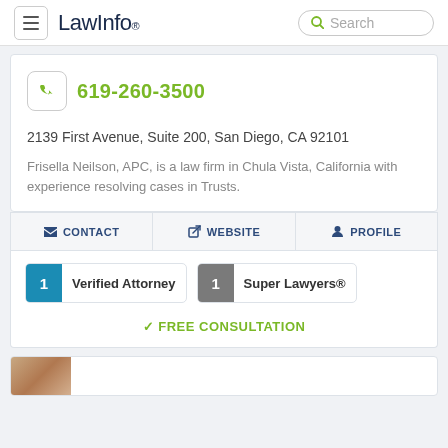LawInfo. Search
619-260-3500
2139 First Avenue, Suite 200, San Diego, CA 92101
Frisella Neilson, APC, is a law firm in Chula Vista, California with experience resolving cases in Trusts.
CONTACT  WEBSITE  PROFILE
1 Verified Attorney  1 Super Lawyers®
FREE CONSULTATION